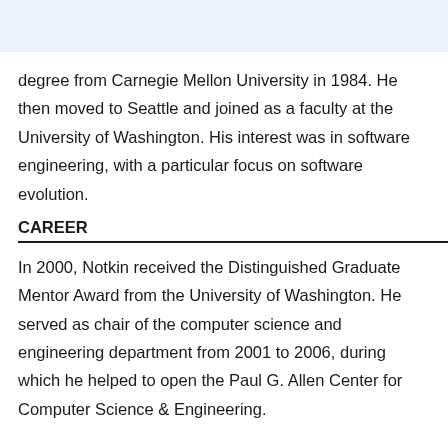degree from Carnegie Mellon University in 1984. He then moved to Seattle and joined as a faculty at the University of Washington. His interest was in software engineering, with a particular focus on software evolution.
CAREER
In 2000, Notkin received the Distinguished Graduate Mentor Award from the University of Washington. He served as chair of the computer science and engineering department from 2001 to 2006, during which he helped to open the Paul G. Allen Center for Computer Science & Engineering.